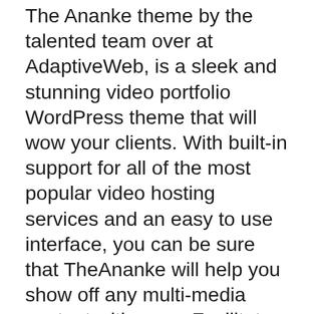The Ananke theme by the talented team over at AdaptiveWeb, is a sleek and stunning video portfolio WordPress theme that will wow your clients. With built-in support for all of the most popular video hosting services and an easy to use interface, you can be sure that TheAnanke will help you show off any multi-media content with ease. Facilitate captivating interactions with potential customers through thumbnails for easily accessible videos, giving them plenty of ways to explore your work before contacting you.
Ananke focuses on working with all of your multimedia content. It has an eye-catching layout that's easy to customize, and includes automatic video embedding for YouTube